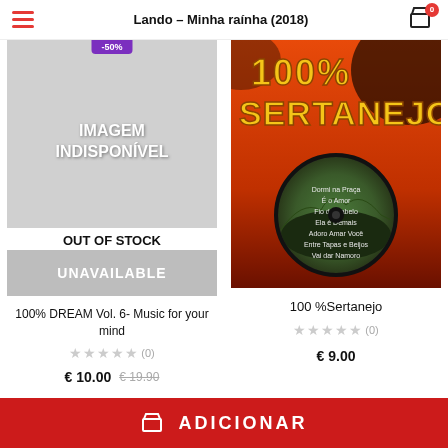Lando – Minha raínha (2018)
[Figure (other): Unavailable product placeholder image with purple discount badge showing -50%, grey background with IMAGEM INDISPONÍVEL text, OUT OF STOCK label, and UNAVAILABLE section below]
100% DREAM Vol. 6- Music for your mind
★★★★★ (0)
€ 10.00  € 19.90
[Figure (photo): 100% Sertanejo album cover with orange/red background, large stylized text '100% SERTANEJO' and a circular landscape image listing songs: Dormi na Praça, É o Amor, Fio de Cabelo, Ela é Demais, Adoro Amar Você, Entre Tapas e Beijos, Vai dar Namoro]
100 %Sertanejo
★★★★★ (0)
€ 9.00
ADICIONAR